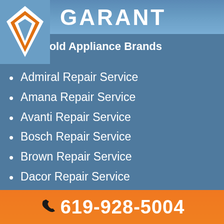GARANT
Household Appliance Brands
Admiral Repair Service
Amana Repair Service
Avanti Repair Service
Bosch Repair Service
Brown Repair Service
Dacor Repair Service
619-928-5004